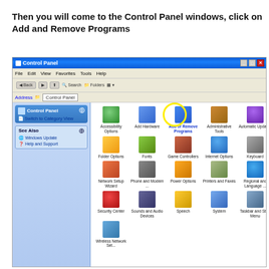Then you will come to the Control Panel windows, click on Add and Remove Programs
[Figure (screenshot): Windows XP Control Panel screenshot showing icons including Add or Remove Programs highlighted with a yellow circle]